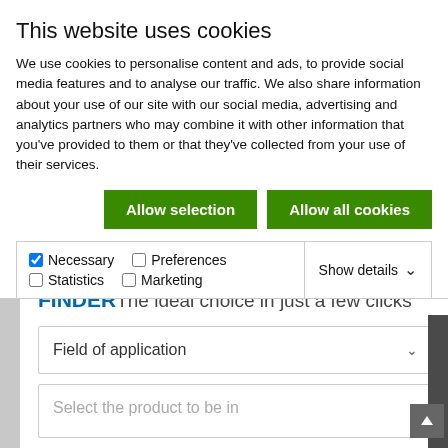This website uses cookies
We use cookies to personalise content and ads, to provide social media features and to analyse our traffic. We also share information about your use of our site with our social media, advertising and analytics partners who may combine it with other information that you've provided to them or that they've collected from your use of their services.
Allow selection | Allow all cookies
✓ Necessary  □ Preferences  □ Statistics  □ Marketing  Show details ∨
Details →
FINDER The ideal choice in just a few clicks
Field of application
Select the product to be installed